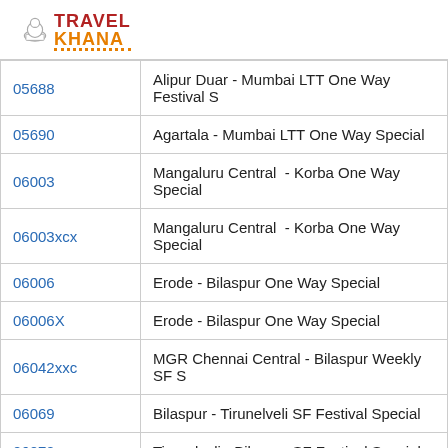[Figure (logo): Travel Khana logo with chef hat icon, red 'TRAVEL' and orange 'KHANA' text]
| 05688 | Alipur Duar - Mumbai LTT One Way Festival S |
| 05690 | Agartala - Mumbai LTT One Way Special |
| 06003 | Mangaluru Central  - Korba One Way Special |
| 06003xcx | Mangaluru Central  - Korba One Way Special |
| 06006 | Erode - Bilaspur One Way Special |
| 06006X | Erode - Bilaspur One Way Special |
| 06042xxc | MGR Chennai Central - Bilaspur Weekly SF S |
| 06069 | Bilaspur - Tirunelveli SF Festival Special |
| 06070 | Tirunelveli - Bilaspur SF Festival Special |
| 0681 | Yesvantpur – Korba – Yesvantpur Weekly Su |